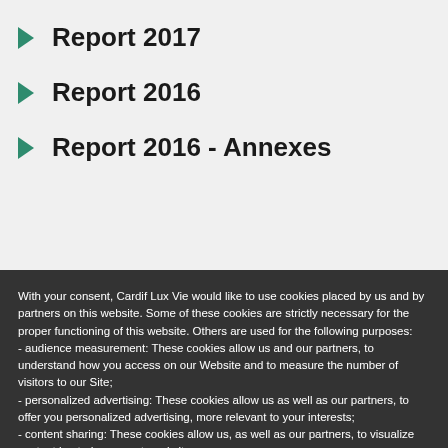Report 2017
Report 2016
Report 2016 - Annexes
With your consent, Cardif Lux Vie would like to use cookies placed by us and by partners on this website. Some of these cookies are strictly necessary for the proper functioning of this website. Others are used for the following purposes:
- audience measurement: These cookies allow us and our partners, to understand how you access on our Website and to measure the number of visitors to our Site;
- personalized advertising: These cookies allow us as well as our partners, to offer you personalized advertising, more relevant to your interests;
- content sharing: These cookies allow us, as well as our partners, to visualize content hosted on an external site;
Your consent to the installation of cookies which is not strictly necessary is free and can be withdrawn at any time.